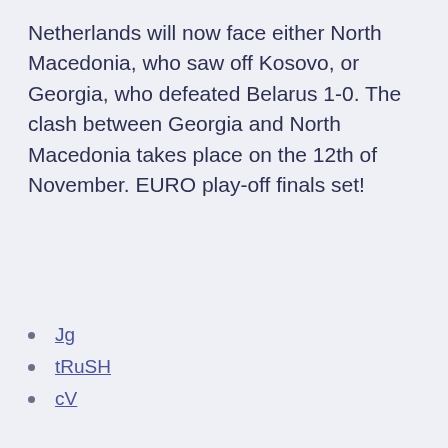Netherlands will now face either North Macedonia, who saw off Kosovo, or Georgia, who defeated Belarus 1-0. The clash between Georgia and North Macedonia takes place on the 12th of November. EURO play-off finals set!
Jg
tRuSH
cV